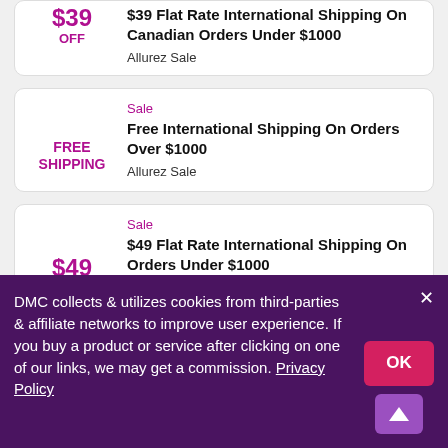$39 OFF — $39 Flat Rate International Shipping On Canadian Orders Under $1000 — Allurez Sale
Sale — Free International Shipping On Orders Over $1000 — Allurez Sale
Sale — $49 Flat Rate International Shipping On Orders Under $1000 — Allurez Sale
Sale
DMC collects & utilizes cookies from third-parties & affiliate networks to improve user experience. If you buy a product or service after clicking on one of our links, we may get a commission. Privacy Policy